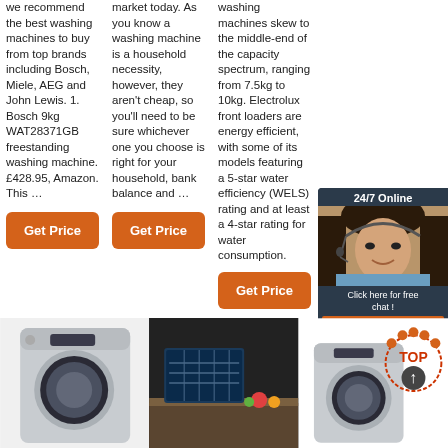we recommend the best washing machines to buy from top brands including Bosch, Miele, AEG and John Lewis. 1. Bosch 9kg WAT28371GB freestanding washing machine. £428.95, Amazon. This …
market today. As you know a washing machine is a household necessity, however, they aren't cheap, so you'll need to be sure whichever one you choose is right for your household, bank balance and …
washing machines skew to the middle-end of the capacity spectrum, ranging from 7.5kg to 10kg. Electrolux front loaders are energy efficient, with some of its models featuring a 5-star water efficiency (WELS) rating and at least a 4-star rating for water consumption.
Get Price
Get Price
Get Price
[Figure (photo): Customer support woman with headset, 24/7 Online chat widget overlay]
[Figure (photo): Front-loading washing machine, silver/grey]
[Figure (photo): Open dishwasher with dishes in a dark kitchen]
[Figure (photo): Washing machine with TOP badge/award icon overlay]